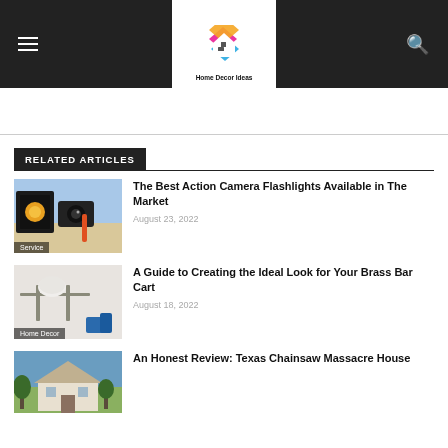Home Decor Ideas
RELATED ARTICLES
[Figure (photo): Action camera and flashlight on beach background with 'Service' label]
The Best Action Camera Flashlights Available in The Market
August 23, 2022
[Figure (photo): Brass towel bar and accessories with 'Home Decor' label]
A Guide to Creating the Ideal Look for Your Brass Bar Cart
August 18, 2022
[Figure (photo): House exterior with blue sky]
An Honest Review: Texas Chainsaw Massacre House